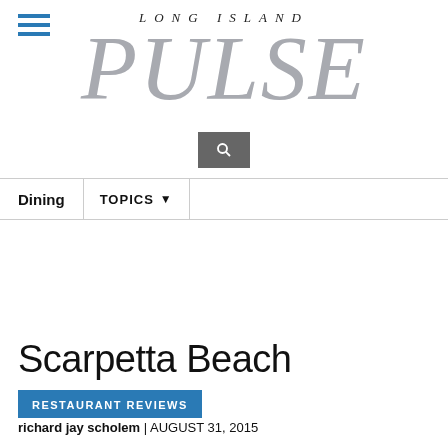[Figure (logo): Long Island Pulse magazine logo with hamburger menu icon and search box]
Dining | TOPICS
Scarpetta Beach
RESTAURANT REVIEWS
richard jay scholem | AUGUST 31, 2015